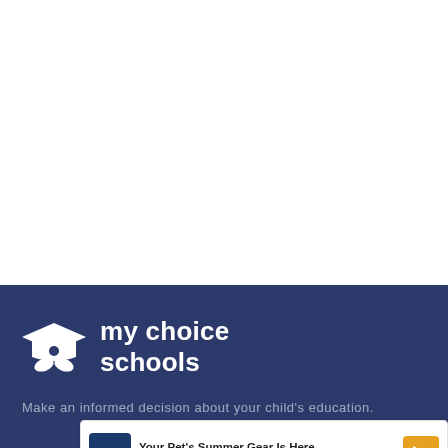[Figure (logo): White area at top of page, blank content area]
[Figure (logo): my choice schools logo — white icon of a graduation cap with an eye/leaf motif, white text reading 'my choice schools' on dark navy background]
Make an informed decision about your child's education.
[Figure (other): Petco advertisement banner: 'Your Pet's Summer Gear Is Here' with Petco logo and orange navigation arrow icon]